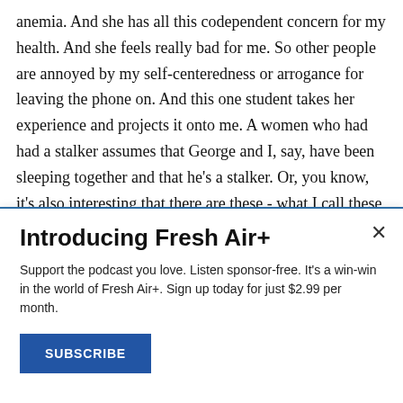anemia. And she has all this codependent concern for my health. And she feels really bad for me. So other people are annoyed by my self-centeredness or arrogance for leaving the phone on. And this one student takes her experience and projects it onto me. A women who had had a stalker assumes that George and I, say, have been sleeping together and that he's a stalker. Or, you know, it's also interesting that there are these - what I call these memory aces. There are these students - usually a musician or a poet. I had this wonderful
Introducing Fresh Air+
Support the podcast you love. Listen sponsor-free. It's a win-win in the world of Fresh Air+. Sign up today for just $2.99 per month.